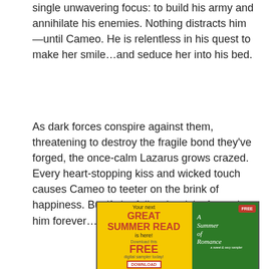single unwavering focus: to build his army and annihilate his enemies. Nothing distracts him—until Cameo. He is relentless in his quest to make her smile…and seduce her into his bed.
As dark forces conspire against them, threatening to destroy the fragile bond they've forged, the once-calm Lazarus grows crazed. Every heart-stopping kiss and wicked touch causes Cameo to teeter on the brink of happiness. But if she falls, she risks forgetting him forever…
[Figure (infographic): Advertisement banner for 'A Summer of Romance' free digital sampler. Yellow background with red bold text reading 'Your next GREAT SUMMER READ is here! Download this FREE digital sampler today!' with a DOWNLOAD button. Right side shows book cover on green background with 'FREE' badge.]